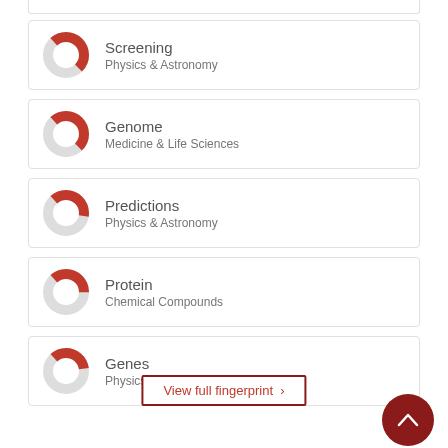[Figure (donut-chart): Donut chart showing ~50% fill, red segment, for Screening / Physics & Astronomy]
Screening
Physics & Astronomy
[Figure (donut-chart): Donut chart showing ~50% fill, red segment, for Genome / Medicine & Life Sciences]
Genome
Medicine & Life Sciences
[Figure (donut-chart): Donut chart showing ~40% fill, red segment, for Predictions / Physics & Astronomy]
Predictions
Physics & Astronomy
[Figure (donut-chart): Donut chart showing ~40% fill, red segment, for Protein / Chemical Compounds]
Protein
Chemical Compounds
[Figure (donut-chart): Donut chart showing ~35% fill, red segment, for Genes / Physics & Astronomy]
Genes
Physics & Astronomy
View full fingerprint ›